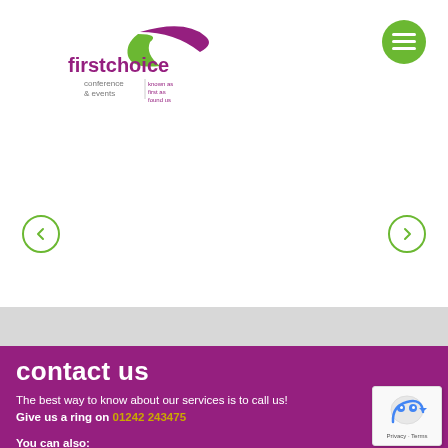[Figure (logo): First Choice Conference & Events logo with cursive swoosh in purple and green]
[Figure (other): Green circular hamburger menu button in top right corner]
[Figure (other): Navigation left arrow circle outline in green]
[Figure (other): Navigation right arrow circle outline in green]
contact us
The best way to know about our services is to call us! Give us a ring on 01242 243475
You can also:
request a call back
[Figure (other): Google reCAPTCHA badge showing robot icon with Privacy - Terms text]